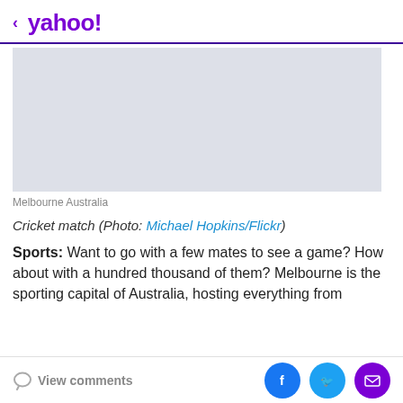< yahoo!
[Figure (photo): Light grey placeholder image representing a cricket match photo in Melbourne Australia]
Melbourne Australia
Cricket match (Photo: Michael Hopkins/Flickr)
Sports: Want to go with a few mates to see a game? How about with a hundred thousand of them? Melbourne is the sporting capital of Australia, hosting everything from
View comments